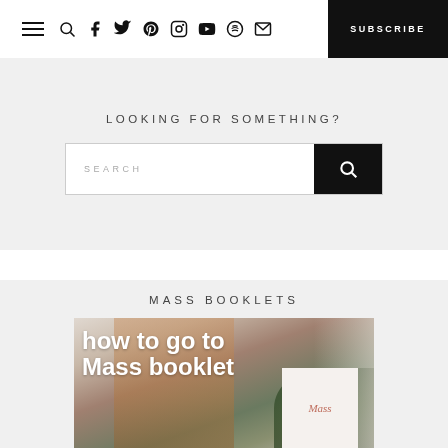Navigation bar with hamburger menu, social icons, and SUBSCRIBE button
LOOKING FOR SOMETHING?
SEARCH
MASS BOOKLETS
[Figure (photo): Book cover image with overlay text 'how to go to Mass booklet' over a photo of a church building and a white Mass booklet card]